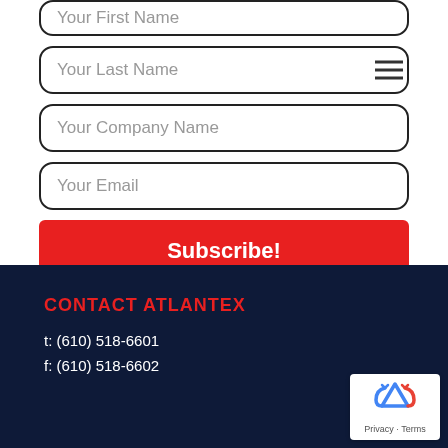Your First Name (partial, top crop)
Your Last Name
Your Company Name
Your Email
Subscribe!
CONTACT ATLANTEX
t: (610) 518-6601
f: (610) 518-6602